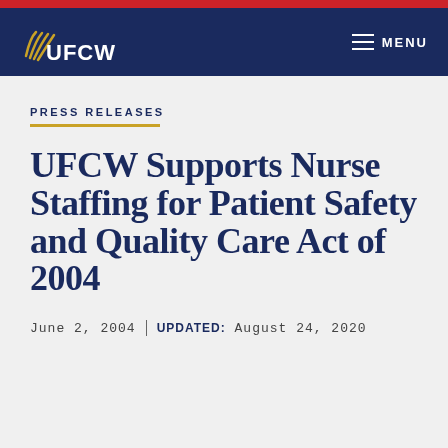UFCW | MENU
PRESS RELEASES
UFCW Supports Nurse Staffing for Patient Safety and Quality Care Act of 2004
June 2, 2004 | UPDATED: August 24, 2020